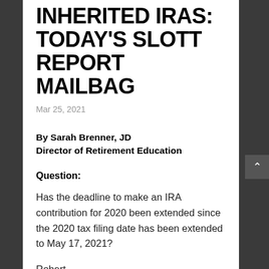INHERITED IRAS: TODAY'S SLOTT REPORT MAILBAG
Mar 25, 2021
By Sarah Brenner, JD
Director of Retirement Education
Question:
Has the deadline to make an IRA contribution for 2020 been extended since the 2020 tax filing date has been extended to May 17, 2021?
Robert